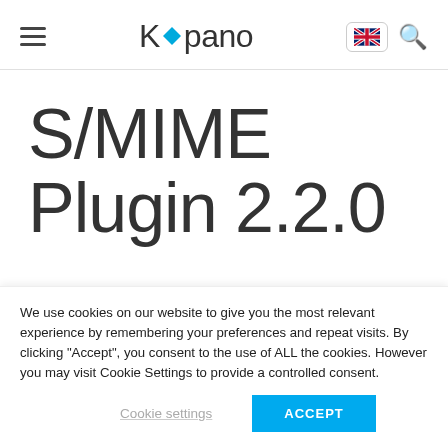Kopano
S/MIME Plugin 2.2.0
We use cookies on our website to give you the most relevant experience by remembering your preferences and repeat visits. By clicking “Accept”, you consent to the use of ALL the cookies. However you may visit Cookie Settings to provide a controlled consent.